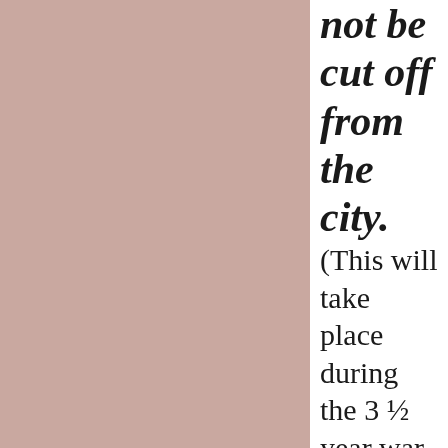[Figure (other): Large mauve/dusty rose colored rectangular panel occupying the left two-thirds of the page]
not be cut off from the city. (This will take place during the 3 ½ year war against Israel DURING the 3 ½ years of the great tribulation